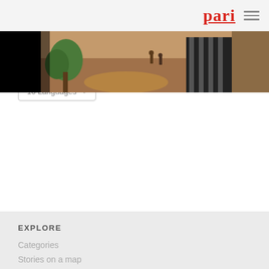pari
[Figure (photo): Outdoor scene showing a dirt path with trees and striped tent/structure in Bastar region, India. Partial view of people visible in background.]
Bastar’s balancing act is child’s play
Purusottam Thakur
Jhagdahinpara
Oct. 19, 2020
10 Languages
EXPLORE
Categories
Stories on a map
GALLERY